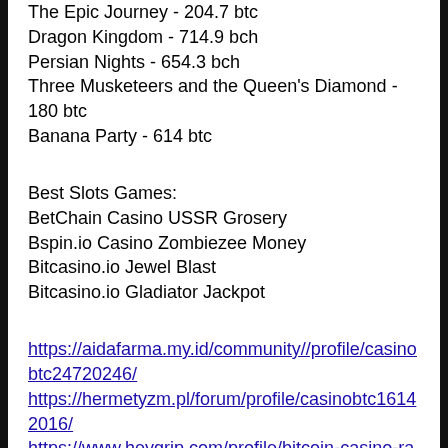The Epic Journey - 204.7 btc
Dragon Kingdom - 714.9 bch
Persian Nights - 654.3 bch
Three Musketeers and the Queen's Diamond - 180 btc
Banana Party - 614 btc
Best Slots Games:
BetChain Casino USSR Grosery
Bspin.io Casino Zombiezee Money
Bitcasino.io Jewel Blast
Bitcasino.io Gladiator Jackpot
https://aidafarma.my.id/community//profile/casinobtc24720246/
https://hermetyzm.pl/forum/profile/casinobtc16142016/
https://www.heygrip.com/profile/bitcoin-casino-racetrack-resort-west-virginia-8258/profile
https://www.dulceweddingmuah.com/profi